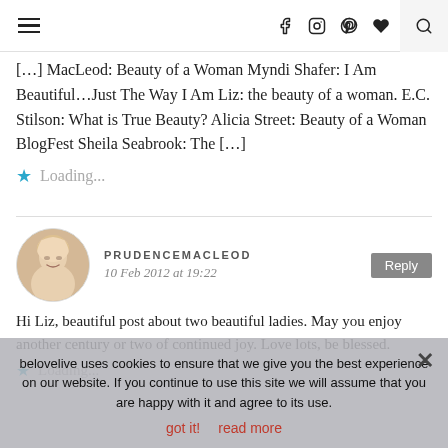Navigation header with hamburger menu, social icons (Facebook, Instagram, Pinterest, heart), and search
[…] MacLeod: Beauty of a Woman Myndi Shafer: I Am Beautiful…Just The Way I Am Liz: the beauty of a woman. E.C. Stilson: What is True Beauty? Alicia Street: Beauty of a Woman BlogFest Sheila Seabrook: The […]
Loading...
PRUDENCEMACLEOD
10 Feb 2012 at 19:22
Hi Liz, beautiful post about two beautiful ladies. May you enjoy another century or two of continued joy. Love lots, be blessed.
Loading...
belovelive uses cookies to ensure that we give you the best experience on our website. If you continue to use this site we will assume that you are happy with it and agree to its use.
got it!   read more